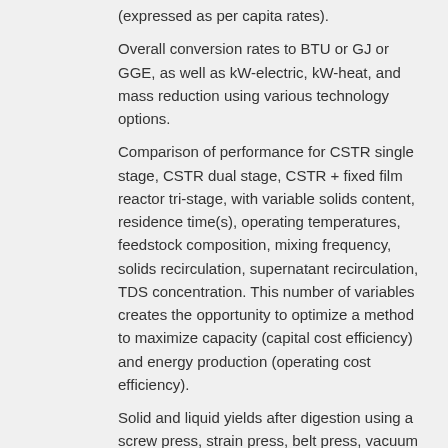(expressed as per capita rates).
Overall conversion rates to BTU or GJ or GGE, as well as kW-electric, kW-heat, and mass reduction using various technology options.
Comparison of performance for CSTR single stage, CSTR dual stage, CSTR + fixed film reactor tri-stage, with variable solids content, residence time(s), operating temperatures, feedstock composition, mixing frequency, solids recirculation, supernatant recirculation, TDS concentration. This number of variables creates the opportunity to optimize a method to maximize capacity (capital cost efficiency) and energy production (operating cost efficiency).
Solid and liquid yields after digestion using a screw press, strain press, belt press, vacuum bin, or similar separation device.
Population demographics and their waste-to-energy ratio – how to achieve most efficiency.
Defining energy yields from urban energy crops,